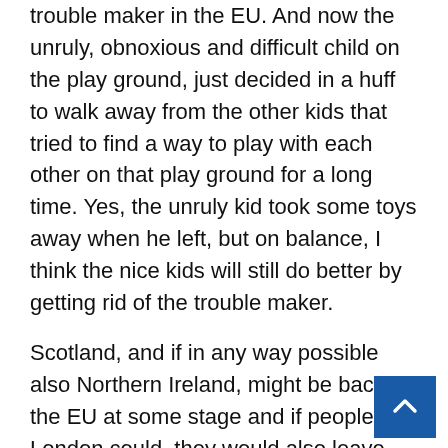trouble maker in the EU. And now the unruly, obnoxious and difficult child on the play ground, just decided in a huff to walk away from the other kids that tried to find a way to play with each other on that play ground for a long time. Yes, the unruly kid took some toys away when he left, but on balance, I think the nice kids will still do better by getting rid of the trouble maker.
Scotland, and if in any way possible also Northern Ireland, might be back in the EU at some stage and if people in London could, they would also leave the UK,. Interesting scenario! The United Kingdom became the Divided Kingdom over night and the damage this referendum did to the British population will probably not be healed for decades.
What does it mean for Ireland? There could be a lot of good in that development for Ireland! American companies that want to open offices in the EU w choose the UK anymore and companies that are